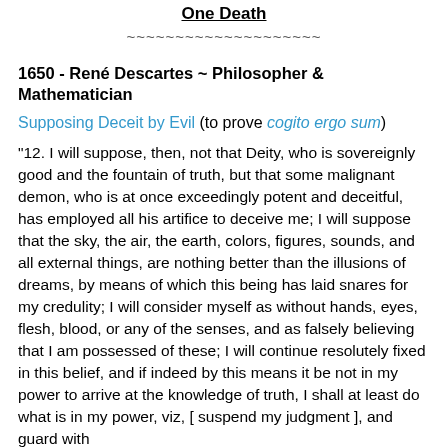One Death
~~~~~~~~~~~~~~~~~~~~
1650 - René Descartes ~ Philosopher & Mathematician
Supposing Deceit by Evil (to prove cogito ergo sum)
"12. I will suppose, then, not that Deity, who is sovereignly good and the fountain of truth, but that some malignant demon, who is at once exceedingly potent and deceitful, has employed all his artifice to deceive me; I will suppose that the sky, the air, the earth, colors, figures, sounds, and all external things, are nothing better than the illusions of dreams, by means of which this being has laid snares for my credulity; I will consider myself as without hands, eyes, flesh, blood, or any of the senses, and as falsely believing that I am possessed of these; I will continue resolutely fixed in this belief, and if indeed by this means it be not in my power to arrive at the knowledge of truth, I shall at least do what is in my power, viz, [ suspend my judgment ], and guard with